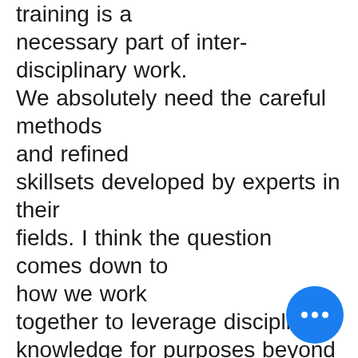training is a necessary part of inter-disciplinary work. We absolutely need the careful methods and refined skillsets developed by experts in their fields. I think the question comes down to how we work together to leverage disciplinary knowledge for purposes beyond the maintenance of the discipline itself. Thinking about the black summer in Australia and smoke pollution, we need medical sciences, architecture, urban design, social sciences and psychology, forest ecologists,